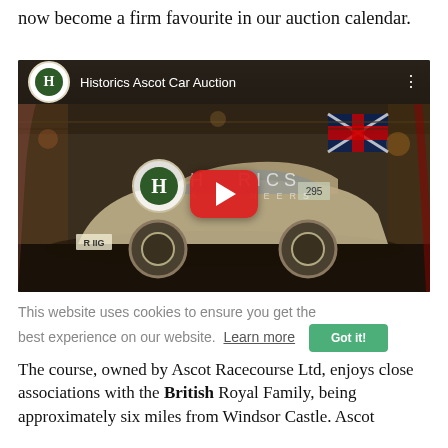now become a firm favourite in our auction calendar.
[Figure (screenshot): YouTube embedded video thumbnail showing a Historics Ascot Car Auction video. Features a classic car (Aston Martin style) in an auction hall. Center shows the Historics logo and a YouTube play button. Top bar shows 'Historics Ascot Car Auction' title with H logo.]
This website uses cookies to ensure you get the best experience on our website.  Learn more
The course, owned by Ascot Racecourse Ltd, enjoys close associations with the British Royal Family, being approximately six miles from Windsor Castle. Ascot